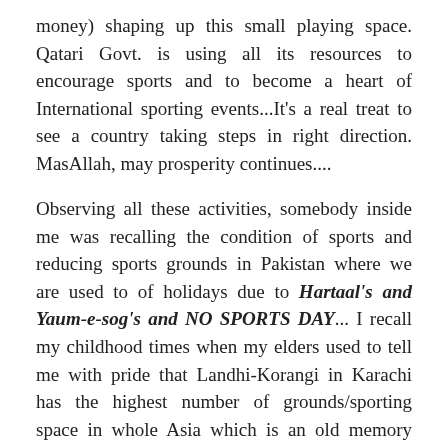money) shaping up this small playing space. Qatari Govt. is using all its resources to encourage sports and to become a heart of International sporting events...It's a real treat to see a country taking steps in right direction. MasAllah, may prosperity continues....
Observing all these activities, somebody inside me was recalling the condition of sports and reducing sports grounds in Pakistan where we are used to of holidays due to Hartaal's and Yaum-e-sog's and NO SPORTS DAY... I recall my childhood times when my elders used to tell me with pride that Landhi-Korangi in Karachi has the highest number of grounds/sporting space in whole Asia which is an old memory now. In our childhood times, we had many options of playing which are reduced with the passage of time. Now when I visit back home, I see